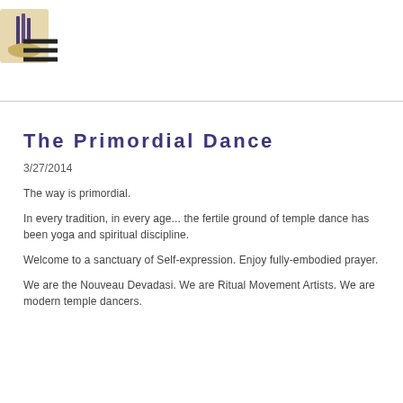[hamburger menu icon] [logo image]
The Primordial Dance
3/27/2014
The way is primordial.
In every tradition, in every age... the fertile ground of temple dance has been yoga and spiritual discipline.
Welcome to a sanctuary of Self-expression. Enjoy fully-embodied prayer.
We are the Nouveau Devadasi. We are Ritual Movement Artists. We are modern temple dancers.